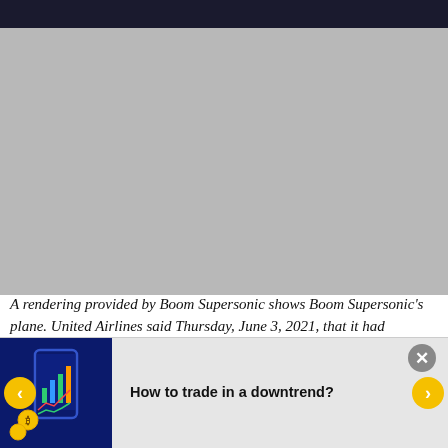[Figure (photo): A rendering provided by Boom Supersonic showing the Boom Supersonic plane, displayed in a news article context. The image area appears mostly dark/grey as the image content.]
A rendering provided by Boom Supersonic shows Boom Supersonic’s plane. United Airlines said Thursday, June 3, 2021, that it had committed to buying 15 planes from the company. Image: Boom Supersonic via The New York
[Figure (infographic): Advertisement banner: How to trade in a downtrend? Shows trading app interface with charts, coins including Bitcoin symbol, on a dark blue background. Navigation arrows on left and right sides.]